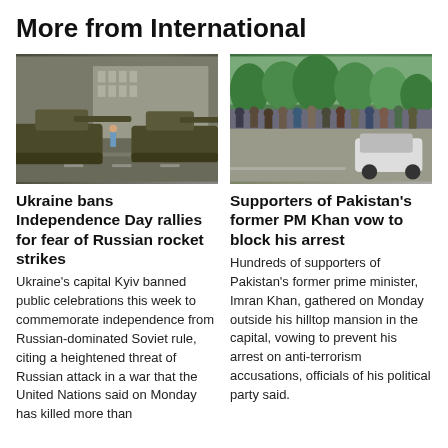More from International
[Figure (photo): Military tanks rolling down a city street in Kyiv, Ukraine, with a person visible in the background near a large building.]
Ukraine bans Independence Day rallies for fear of Russian rocket strikes
Ukraine's capital Kyiv banned public celebrations this week to commemorate independence from Russian-dominated Soviet rule, citing a heightened threat of Russian attack in a war that the United Nations said on Monday has killed more than
[Figure (photo): A large crowd of supporters gathered on a road outside a hilltop mansion, with trees in the background, in Pakistan.]
Supporters of Pakistan's former PM Khan vow to block his arrest
Hundreds of supporters of Pakistan's former prime minister, Imran Khan, gathered on Monday outside his hilltop mansion in the capital, vowing to prevent his arrest on anti-terrorism accusations, officials of his political party said.